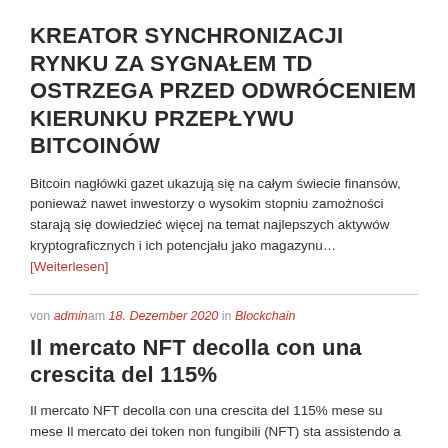KREATOR SYNCHRONIZACJI RYNKU ZA SYGNAŁEM TD OSTRZEGA PRZED ODWRÓCENIEM KIERUNKU PRZEPŁYWU BITCOINÓW
Bitcoin nagłówki gazet ukazują się na całym świecie finansów, ponieważ nawet inwestorzy o wysokim stopniu zamożności starają się dowiedzieć więcej na temat najlepszych aktywów kryptograficznych i ich potencjału jako magazynu… [Weiterlesen]
von admin am 18. Dezember 2020 in Blockchain
Il mercato NFT decolla con una crescita del 115%
Il mercato NFT decolla con una crescita del 115% mese su mese Il mercato dei token non fungibili (NFT) sta assistendo a un forte